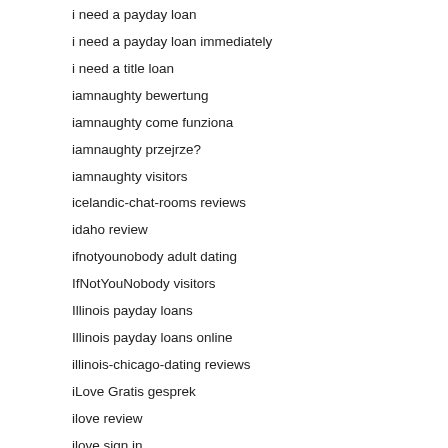i need a payday loan
i need a payday loan immediately
i need a title loan
iamnaughty bewertung
iamnaughty come funziona
iamnaughty przejrze?
iamnaughty visitors
icelandic-chat-rooms reviews
idaho review
ifnotyounobody adult dating
IfNotYouNobody visitors
Illinois payday loans
Illinois payday loans online
illinois-chicago-dating reviews
iLove Gratis gesprek
ilove review
ilove sign in
Ilove Zaloguj si?